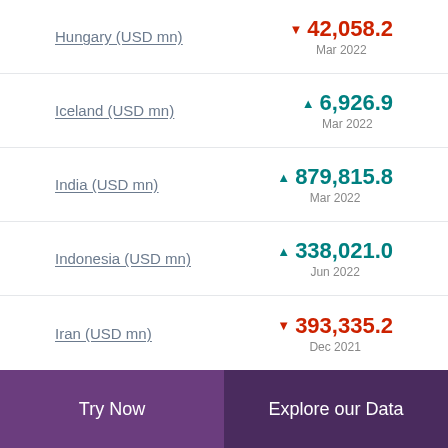Hungary (USD mn) ▼ 42,058.2 Mar 2022
Iceland (USD mn) ▲ 6,926.9 Mar 2022
India (USD mn) ▲ 879,815.8 Mar 2022
Indonesia (USD mn) ▲ 338,021.0 Jun 2022
Iran (USD mn) ▼ 393,335.2 Dec 2021
Try Now
Explore our Data